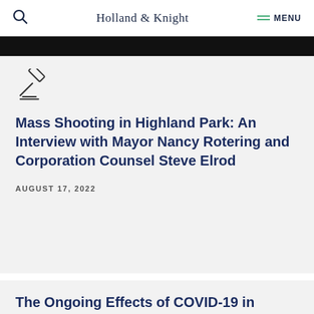Holland & Knight  MENU
Mass Shooting in Highland Park: An Interview with Mayor Nancy Rotering and Corporation Counsel Steve Elrod
AUGUST 17, 2022
The Ongoing Effects of COVID-19 in Landlord-Tenant Law